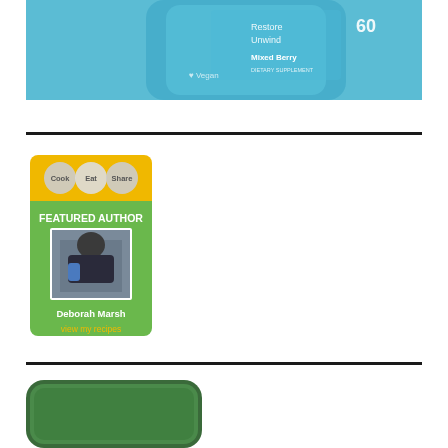[Figure (photo): Blue dietary supplement bottle labeled Mixed Berry, Restore, Unwind, Vegan, 60 count]
[Figure (illustration): Cook Eat Share Featured Author badge with photo of Deborah Marsh and text 'view my recipes']
[Figure (photo): Partial image of a dark green rounded-rectangle object at bottom of page]